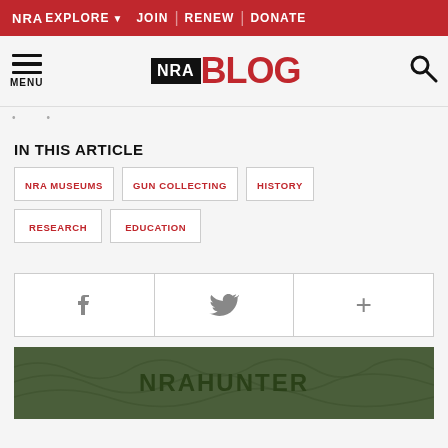NRA EXPLORE ▾  JOIN | RENEW | DONATE
[Figure (logo): NRA BLOG logo with hamburger menu and search icon]
IN THIS ARTICLE
NRA MUSEUMS
GUN COLLECTING
HISTORY
RESEARCH
EDUCATION
[Figure (infographic): Social share bar with Facebook, Twitter, and plus icons]
[Figure (logo): NRA HUNTER logo on dark green background with topographic pattern]